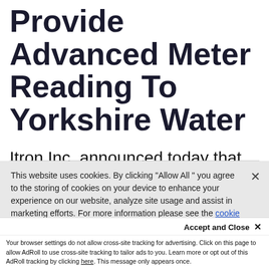Provide Advanced Meter Reading To Yorkshire Water
Itron Inc. announced today that one of the UK's leading Water and Waste Water providers, Yorkshire Water, has
This website uses cookies. By clicking "Allow All" you agree to the storing of cookies on your device to enhance your experience on our website, analyze site usage and assist in marketing efforts. For more information please see the cookie notice.
Accept and Close ✕
Your browser settings do not allow cross-site tracking for advertising. Click on this page to allow AdRoll to use cross-site tracking to tailor ads to you. Learn more or opt out of this AdRoll tracking by clicking here. This message only appears once.